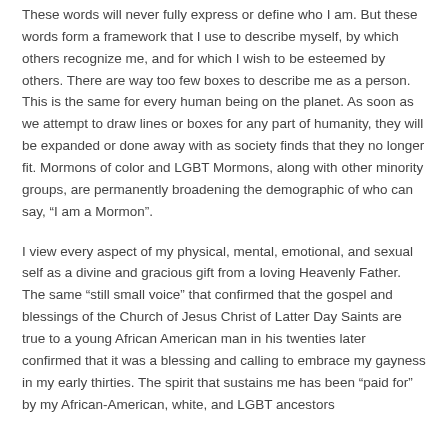These words will never fully express or define who I am. But these words form a framework that I use to describe myself, by which others recognize me, and for which I wish to be esteemed by others. There are way too few boxes to describe me as a person. This is the same for every human being on the planet. As soon as we attempt to draw lines or boxes for any part of humanity, they will be expanded or done away with as society finds that they no longer fit. Mormons of color and LGBT Mormons, along with other minority groups, are permanently broadening the demographic of who can say, “I am a Mormon”.
I view every aspect of my physical, mental, emotional, and sexual self as a divine and gracious gift from a loving Heavenly Father. The same “still small voice” that confirmed that the gospel and blessings of the Church of Jesus Christ of Latter Day Saints are true to a young African American man in his twenties later confirmed that it was a blessing and calling to embrace my gayness in my early thirties. The spirit that sustains me has been “paid for” by my African-American, white, and LGBT ancestors